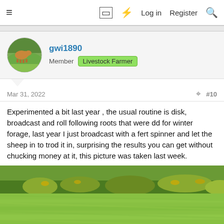☰  🔲 ⚡ Log in  Register  🔍
gwi1890
Member  Livestock Farmer
Mar 31, 2022  #10
Experimented a bit last year , the usual routine is disk, broadcast and roll following roots that were dd for winter forage, last year I just broadcast with a fert spinner and let the sheep in to trod it in, surprising the results you can get without chucking money at it, this picture was taken last week.
[Figure (photo): Green grass field with shrubs and gorse in the background, taken from a low angle showing lush grass coverage.]